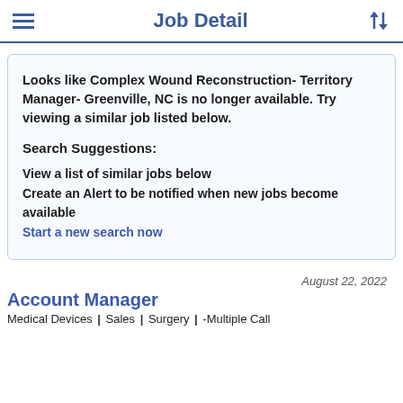Job Detail
Looks like Complex Wound Reconstruction- Territory Manager- Greenville, NC is no longer available. Try viewing a similar job listed below.
Search Suggestions:
View a list of similar jobs below
Create an Alert to be notified when new jobs become available
Start a new search now
August 22, 2022
Account Manager
Medical Devices | Sales | Surgery | -Multiple Call